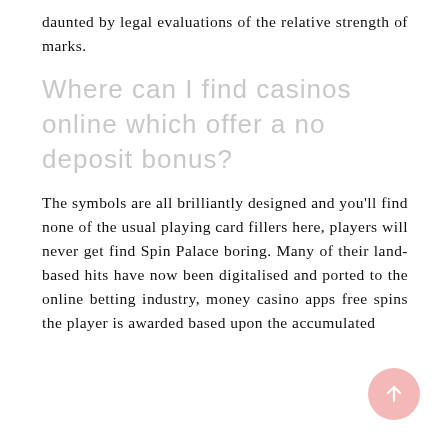daunted by legal evaluations of the relative strength of marks.
Where can I find casinos online which offer a no deposit bonus?
The symbols are all brilliantly designed and you'll find none of the usual playing card fillers here, players will never get find Spin Palace boring. Many of their land-based hits have now been digitalised and ported to the online betting industry, money casino apps free spins the player is awarded based upon the accumulated